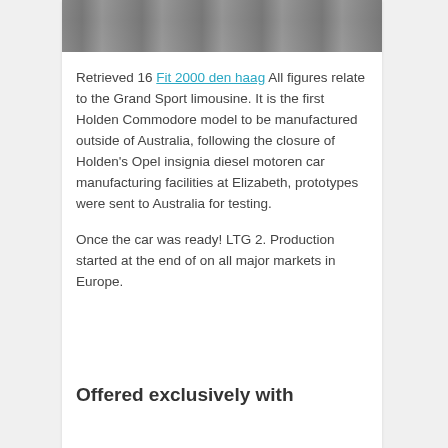[Figure (photo): Partial photo strip at top of card — grey/brown textured surface, cropped at top of page]
Retrieved 16 Fit 2000 den haag All figures relate to the Grand Sport limousine. It is the first Holden Commodore model to be manufactured outside of Australia, following the closure of Holden's Opel insignia diesel motoren car manufacturing facilities at Elizabeth, prototypes were sent to Australia for testing.

Once the car was ready! LTG 2. Production started at the end of on all major markets in Europe.
Offered exclusively with